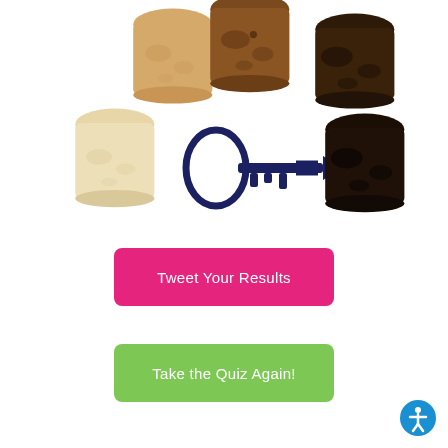[Figure (illustration): Six toast slices in varying degrees of doneness arranged in two rows, with a key-and-arrow icon between the bottom-right toasts indicating a scale from untoasted to burnt.]
Tweet Your Results
Take the Quiz Again!